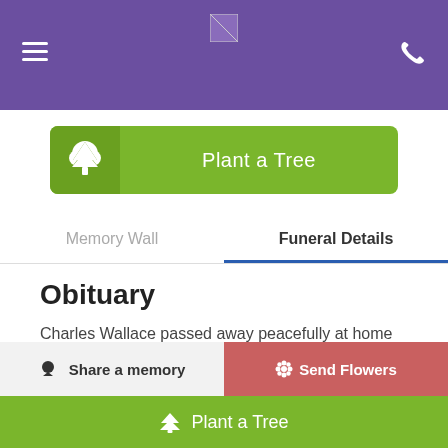[Figure (screenshot): Purple navigation header bar with hamburger menu icon on left, phone icon on right, and small logo/image in top center]
[Figure (infographic): Green 'Plant a Tree' button with tree icon on left side and white text 'Plant a Tree' centered]
Memory Wall
Funeral Details
Obituary
Charles Wallace passed away peacefully at home with his wife and daughters at his side on March 5th, 2022, after a short battle with cancer. He was born in
Share a memory
Send Flowers
Plant a Tree